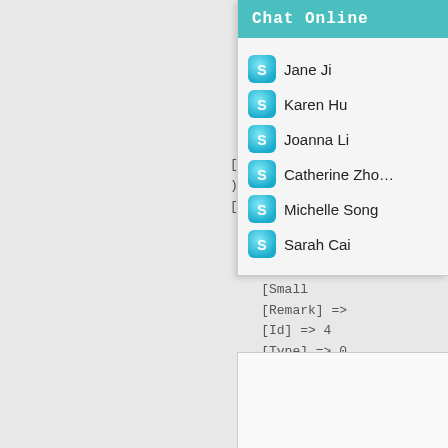[Figure (screenshot): Chat Online widget showing Skype-style contact list with names: Jane Ji, Karen Hu, Joanna Li, Catherine Zhou, Michelle Song, Sarah Cai. Teal header with monospace 'Chat Online' text.]
[Body]
)
[3] => Array(
    [Name]
    [Link]
    [BigPi
    [Small
    [Remark] =>
    [Id] => 4
    [Type] => 0
    [Arg] =>
    [Width] => 1200
    [Height] => 440